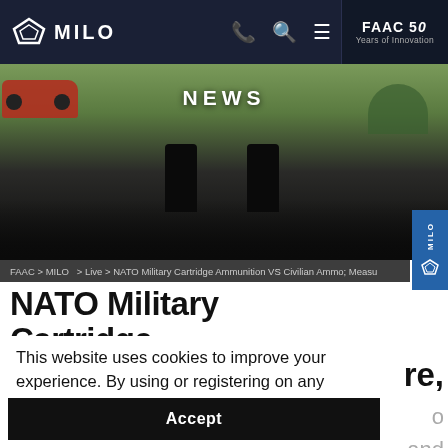MILO | FAAC — Navigation bar with phone, search, menu icons and FAAC 50 Years of Innovation logo
[Figure (photo): Hero banner image showing two law enforcement officers standing in a field/parking lot outdoors, labeled NEWS]
FAAC > MILO > Live > NATO Military Cartridge Ammunition VS Civilian Ammo; Measu
NATO Military Cartridge
This website uses cookies to improve your experience. By using or registering on any portion of this site, you agree to our privacy policy.  Read More
Accept